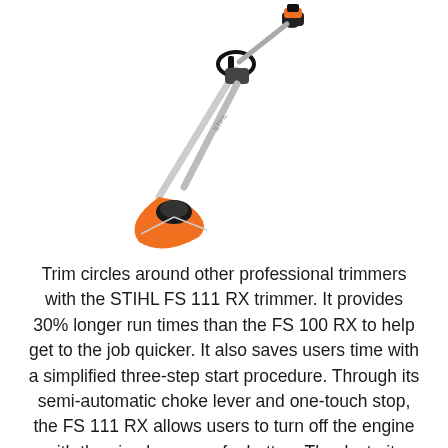[Figure (photo): STIHL FS 111 RX string trimmer / weed eater shown diagonally from upper right to lower left, with an orange cutting head guard at the bottom, a long silver shaft, black handle loop, and orange/black motor unit at the top. White background.]
Trim circles around other professional trimmers with the STIHL FS 111 RX trimmer. It provides 30% longer run times than the FS 100 RX to help get to the job quicker. It also saves users time with a simplified three-step start procedure. Through its semi-automatic choke lever and one-touch stop, the FS 111 RX allows users to turn off the engine with the simple press of a button. Thanks to its high-powered